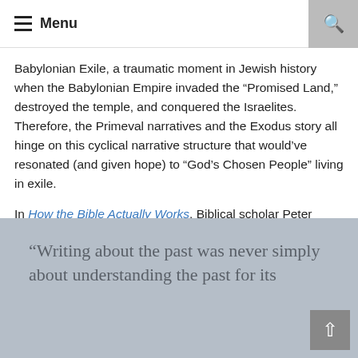Menu
Babylonian Exile, a traumatic moment in Jewish history when the Babylonian Empire invaded the “Promised Land,” destroyed the temple, and conquered the Israelites. Therefore, the Primeval narratives and the Exodus story all hinge on this cyclical narrative structure that would’ve resonated (and given hope) to “God’s Chosen People” living in exile.
In How the Bible Actually Works, Biblical scholar Peter Enns writes,
“Writing about the past was never simply about understanding the past for its